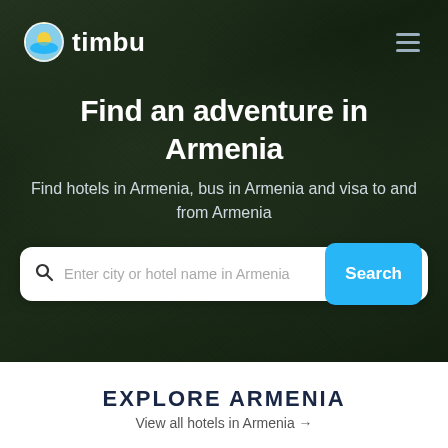[Figure (screenshot): Hero section of Timbu travel website with dark mountainous terrain background]
Find an adventure in Armenia
Find hotels in Armenia, bus in Armenia and visa to and from Armenia
Enter city or hotel name in Armenia  Search
EXPLORE ARMENIA
View all hotels in Armenia →